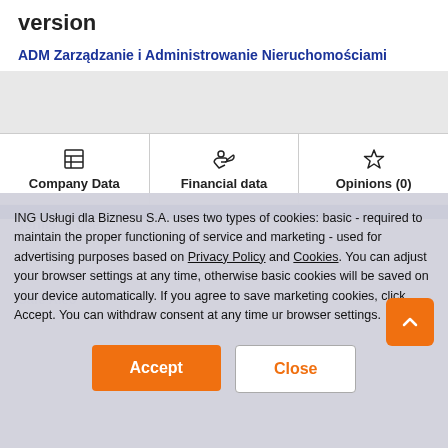version
ADM Zarządzanie i Administrowanie Nieruchomościami
[Figure (screenshot): Navigation tab bar with three tabs: Company Data, Financial data, Opinions (0)]
ING Usługi dla Biznesu S.A. uses two types of cookies: basic - required to maintain the proper functioning of service and marketing - used for advertising purposes based on Privacy Policy and Cookies. You can adjust your browser settings at any time, otherwise basic cookies will be saved on your device automatically. If you agree to save marketing cookies, click Accept. You can withdraw consent at any time ur browser settings.
Accept
Close